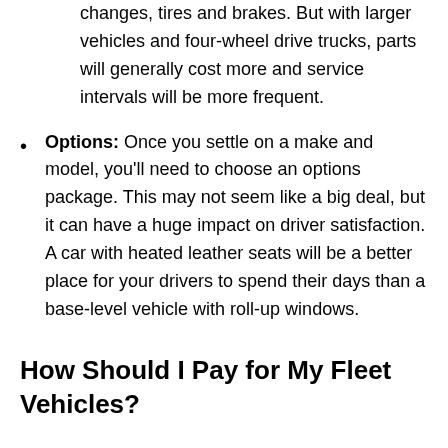changes, tires and brakes. But with larger vehicles and four-wheel drive trucks, parts will generally cost more and service intervals will be more frequent.
Options: Once you settle on a make and model, you'll need to choose an options package. This may not seem like a big deal, but it can have a huge impact on driver satisfaction. A car with heated leather seats will be a better place for your drivers to spend their days than a base-level vehicle with roll-up windows.
How Should I Pay for My Fleet Vehicles?